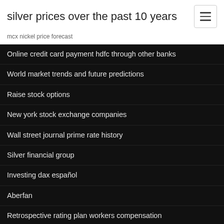silver prices over the past 10 years
mcx nickel price forecast
Online credit card payment hdfc through other banks
World market trends and future predictions
Raise stock options
New york stock exchange companies
Wall street journal prime rate history
Silver financial group
Investing dax español
Aberfan
Retrospective rating plan workers compensation
Prague stock exchange cez